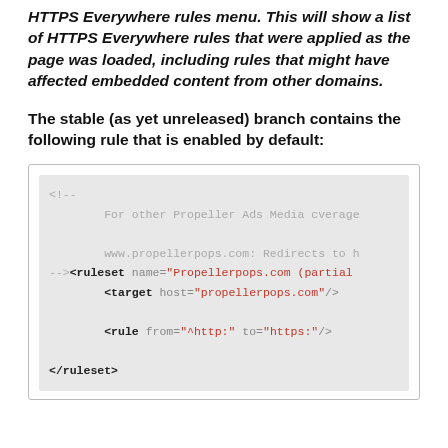HTTPS Everywhere rules menu. This will show a list of HTTPS Everywhere rules that were applied as the page was loaded, including rules that might have affected embedded content from other domains.
The stable (as yet unreleased) branch contains the following rule that is enabled by default:
[Figure (screenshot): Code block showing an XML ruleset for Propellerpops.com with a comment, target host, and rule for redirecting http to https.]